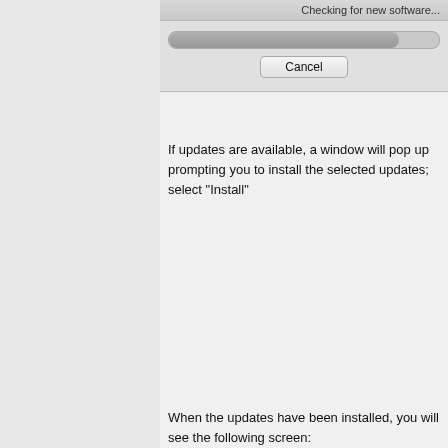[Figure (screenshot): macOS 'Checking for new software' progress dialog with a progress bar and Cancel button]
If updates are available, a window will pop up prompting you to install the selected updates; select "Install"
[Figure (screenshot): macOS Software Update dialog showing 'Software updates are available. Do you want to install them?' with Show Details button and help icon]
When the updates have been installed, you will see the following screen: